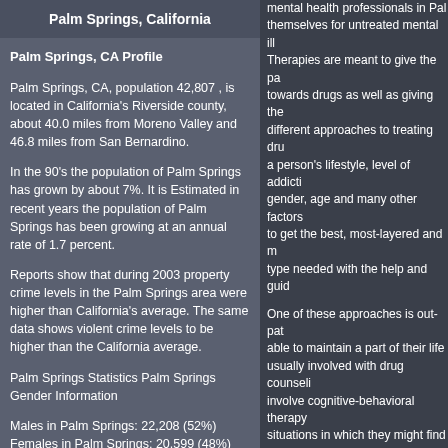Palm Springs, California
Palm Springs, CA Profile
Palm Springs, CA, population 42,807 , is located in California's Riverside county, about 40.0 miles from Moreno Valley and 46.8 miles from San Bernardino.
In the 90's the population of Palm Springs has grown by about 7%. It is Estimated in recent years the population of Palm Springs has been growing at an annual rate of 1.7 percent.
Reports show that during 2003 property crime levels in the Palm Springs area were higher than California's average. The same data shows violent crime levels to be higher than the California average.
Palm Springs Statistics Palm Springs Gender Information
Males in Palm Springs: 22,208 (52%)
Females in Palm Springs: 20,599 (48%)
As % of Population in Palm Springs in Palm Springs
mental health professionals in Palm Springs themselves for untreated mental ill... Therapies are meant to give the pat... towards drugs as well as giving the... different approaches to treating drug... a person's lifestyle, level of addiction... gender, age and many other factors... to get the best, most-layered and mo... type needed with the help and guida...
One of these approaches is out-patie... able to maintain a part of their lifes... usually involved with drug counseling... involve cognitive-behavioral therapy... situations in which they might find th... therapy, which has been designed s... family and the individual cope as w... facilities in Palm Springs, California... work or go to school while seeking tr... for a certain amount of privacy that w...
Inpatient drug rehab centers in Palm... addiction problem, but they might co... all insurance covers this type of trea... amount of time needed off work or... treatment center can be the best opti... that want to have access to help a... centers in Palm Springs, California... recovery for an addict with a great e... environment change that is intende... productive and less prone to using... programs are mostly ideal for those w... have impaired social functioning, and...
Alcohol Rehab, Palm Sp...
What is Alcohol Addiction?